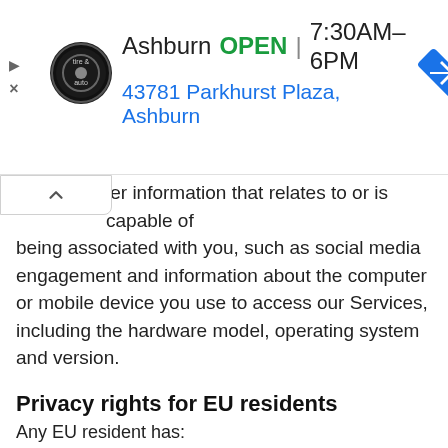[Figure (other): Advertisement banner for Virginia Tire & Auto, Ashburn location. Shows logo, OPEN status, hours 7:30AM–6PM, address 43781 Parkhurst Plaza, Ashburn, and a blue navigation arrow icon.]
ler information that relates to or is capable of being associated with you, such as social media engagement and information about the computer or mobile device you use to access our Services, including the hardware model, operating system and version.
Privacy rights for EU residents
Any EU resident has:
- the right to request access to personal information that we have already been collected and the right to find out how we process personal information;
- the right to request correction of personal information that contains inaccurate details;
- the right to be forgotten;
- the right to object to processing of personal information when we collect and process it based on